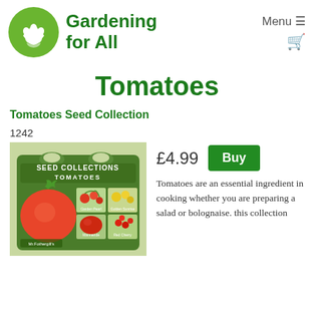Gardening for All — Menu — Cart
Tomatoes
Tomatoes Seed Collection
1242
[Figure (photo): Seed Collections Tomatoes packet showing tomatoes and variety photos including Garden Pearl, Golden Sunrise, Marmande, Red Cherry]
£4.99
Buy
Tomatoes are an essential ingredient in cooking whether you are preparing a salad or bolognaise. this collection